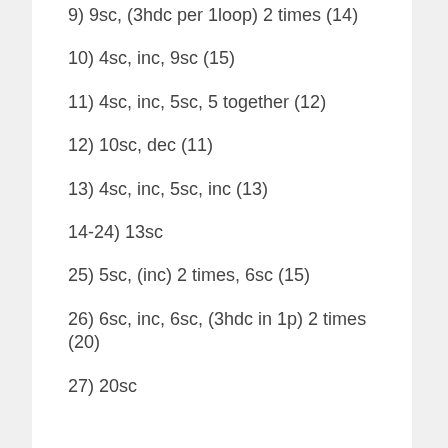9) 9sc, (3hdc per 1loop) 2 times (14)
10) 4sc, inc, 9sc (15)
11) 4sc, inc, 5sc, 5 together (12)
12) 10sc, dec (11)
13) 4sc, inc, 5sc, inc (13)
14-24) 13sc
25) 5sc, (inc) 2 times, 6sc (15)
26) 6sc, inc, 6sc, (3hdc in 1p) 2 times (20)
27) 20sc